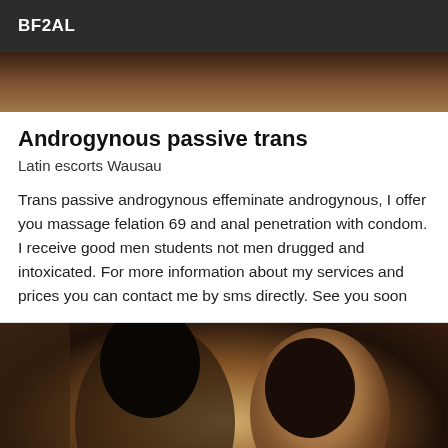BF2AL
[Figure (photo): Top partial photo, dark toned image]
Androgynous passive trans
Latin escorts Wausau
Trans passive androgynous effeminate androgynous, I offer you massage felation 69 and anal penetration with condom. I receive good men students not men drugged and intoxicated. For more information about my services and prices you can contact me by sms directly. See you soon
[Figure (photo): Person with dark hair looking into a mirror, wearing a light colored top, warm toned bathroom setting]